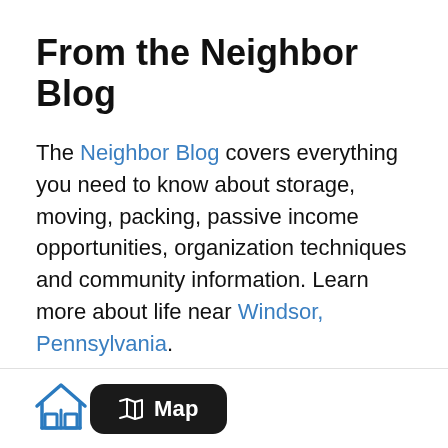From the Neighbor Blog
The Neighbor Blog covers everything you need to know about storage, moving, packing, passive income opportunities, organization techniques and community information. Learn more about life near Windsor, Pennsylvania.
[Figure (logo): House icon in blue, representing a storage/neighborhood home logo]
[Figure (other): Black rounded rectangle button with map/atlas icon and label 'Map']